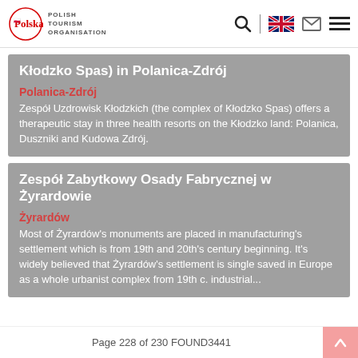Polish Tourism Organisation
Kłodzko Spas) in Polanica-Zdrój
Polanica-Zdrój
Zespół Uzdrowisk Kłodzkich (the complex of Kłodzko Spas) offers a therapeutic stay in three health resorts on the Kłodzko land: Polanica, Duszniki and Kudowa Zdrój.
Zespół Zabytkowy Osady Fabrycznej w Żyrardowie
Żyrardów
Most of Żyrardów's monuments are placed in manufacturing's settlement which is from 19th and 20th's century beginning. It's widely believed that Żyrardów's settlement is single saved in Europe as a whole urbanist complex from 19th c. industrial...
Page 228 of 230 FOUND3441